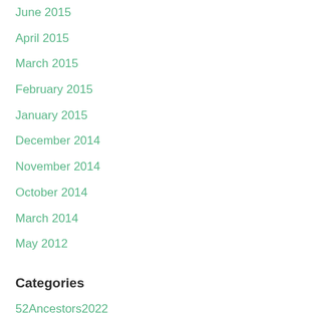June 2015
April 2015
March 2015
February 2015
January 2015
December 2014
November 2014
October 2014
March 2014
May 2012
Categories
52Ancestors2022
Family history
Historical